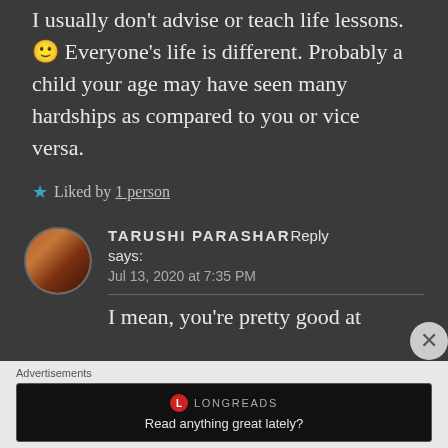I usually don't advise or teach life lessons.🙂 Everyone's life is different. Probably a child your age may have seen many hardships as compared to you or vice versa.
★ Liked by 1 person
TARUSHI PARASHAR Reply says: Jul 13, 2020 at 7:35 PM
I mean, you're pretty good at
Advertisements
[Figure (screenshot): Longreads advertisement banner with red circle logo, 'LONGREADS' text, and tagline 'Read anything great lately?']